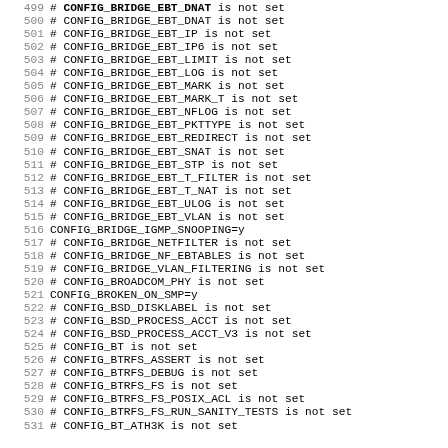499 # CONFIG_BRIDGE_EBT_DNAT is not set (partial, cut off at top)
500 # CONFIG_BRIDGE_EBT_DNAT is not set
501 # CONFIG_BRIDGE_EBT_IP is not set
502 # CONFIG_BRIDGE_EBT_IP6 is not set
503 # CONFIG_BRIDGE_EBT_LIMIT is not set
504 # CONFIG_BRIDGE_EBT_LOG is not set
505 # CONFIG_BRIDGE_EBT_MARK is not set
506 # CONFIG_BRIDGE_EBT_MARK_T is not set
507 # CONFIG_BRIDGE_EBT_NFLOG is not set
508 # CONFIG_BRIDGE_EBT_PKTTYPE is not set
509 # CONFIG_BRIDGE_EBT_REDIRECT is not set
510 # CONFIG_BRIDGE_EBT_SNAT is not set
511 # CONFIG_BRIDGE_EBT_STP is not set
512 # CONFIG_BRIDGE_EBT_T_FILTER is not set
513 # CONFIG_BRIDGE_EBT_T_NAT is not set
514 # CONFIG_BRIDGE_EBT_ULOG is not set
515 # CONFIG_BRIDGE_EBT_VLAN is not set
516 CONFIG_BRIDGE_IGMP_SNOOPING=y
517 # CONFIG_BRIDGE_NETFILTER is not set
518 # CONFIG_BRIDGE_NF_EBTABLES is not set
519 # CONFIG_BRIDGE_VLAN_FILTERING is not set
520 # CONFIG_BROADCOM_PHY is not set
521 CONFIG_BROKEN_ON_SMP=y
522 # CONFIG_BSD_DISKLABEL is not set
523 # CONFIG_BSD_PROCESS_ACCT is not set
524 # CONFIG_BSD_PROCESS_ACCT_V3 is not set
525 # CONFIG_BT is not set
526 # CONFIG_BTRFS_ASSERT is not set
527 # CONFIG_BTRFS_DEBUG is not set
528 # CONFIG_BTRFS_FS is not set
529 # CONFIG_BTRFS_FS_POSIX_ACL is not set
530 # CONFIG_BTRFS_FS_RUN_SANITY_TESTS is not set
531 # CONFIG_BT_ATH3K is not set